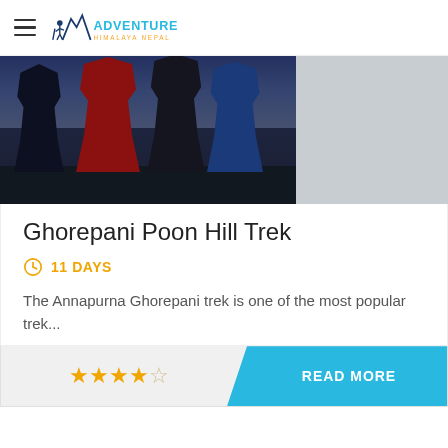Adventure Himalaya Nepal
[Figure (photo): Group of trekkers/hikers standing against a twilight sky with dark trees in the background, partial view of a grey secondary image area]
Ghorepani Poon Hill Trek
11 DAYS
The Annapurna Ghorepani trek is one of the most popular trek...
★★★★☆  READ MORE
Price: $900